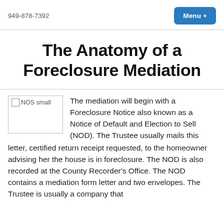949-878-7392
The Anatomy of a Foreclosure Mediation
[Figure (illustration): Small image placeholder labeled 'NOS small']
The mediation will begin with a Foreclosure Notice also known as a Notice of Default and Election to Sell (NOD). The Trustee usually mails this letter, certified return receipt requested, to the homeowner advising her the house is in foreclosure. The NOD is also recorded at the County Recorder's Office. The NOD contains a mediation form letter and two envelopes. The Trustee is usually a company that